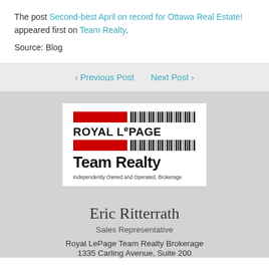The post Second-best April on record for Ottawa Real Estate! appeared first on Team Realty.
Source: Blog
< Previous Post   Next Post >
[Figure (logo): Royal LePage Team Realty logo with red bars and barcode-style graphic, text reads ROYAL LePAGE Team Realty, Independently Owned and Operated, Brokerage]
Eric Ritterrath
Sales Representative
Royal LePage Team Realty Brokerage
1335 Carling Avenue, Suite 200